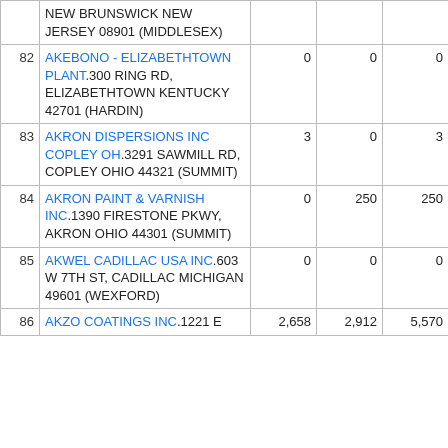| # | Facility | Col3 | Col4 | Col5 | Col6 |
| --- | --- | --- | --- | --- | --- |
|  | NEW BRUNSWICK NEW JERSEY 08901 (MIDDLESEX) |  |  |  |  |
| 82 | AKEBONO - ELIZABETHTOWN PLANT.300 RING RD, ELIZABETHTOWN KENTUCKY 42701 (HARDIN) | 0 | 0 | 0 | 0 |
| 83 | AKRON DISPERSIONS INC COPLEY OH.3291 SAWMILL RD, COPLEY OHIO 44321 (SUMMIT) | 3 | 0 | 3 | 0 |
| 84 | AKRON PAINT & VARNISH INC.1390 FIRESTONE PKWY, AKRON OHIO 44301 (SUMMIT) | 0 | 250 | 250 | 0 |
| 85 | AKWEL CADILLAC USA INC.603 W 7TH ST, CADILLAC MICHIGAN 49601 (WEXFORD) | 0 | 0 | 0 | 0 |
| 86 | AKZO COATINGS INC.1221 E | 2,658 | 2,912 | 5,570 | 0 |